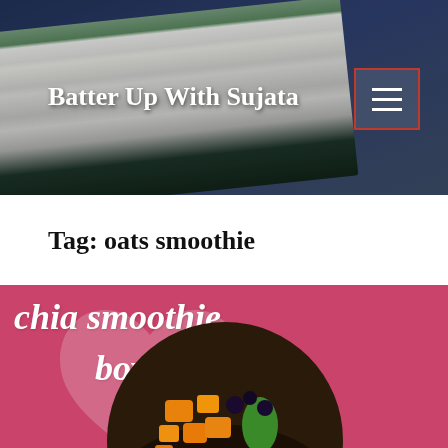Batter Up With Sujata
Tag: oats smoothie
[Figure (photo): Pink card with cursive white text reading 'chia smoothie bowl' over a pink background with a heart shape, and a circular food photo showing a smoothie bowl topped with mango chunks and seeds]
B  A